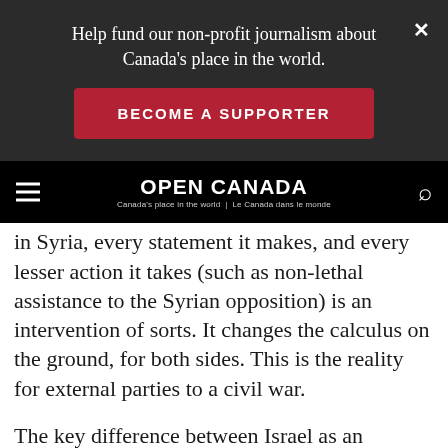Help fund our non-profit journalism about Canada’s place in the world.
BECOME A SUPPORTER
[Figure (logo): Open Canada logo with tagline: Canada's place in the world | Le Canada dans le monde]
in Syria, every statement it makes, and every lesser action it takes (such as non-lethal assistance to the Syrian opposition) is an intervention of sorts. It changes the calculus on the ground, for both sides. This is the reality for external parties to a civil war.
The key difference between Israel as an external party, and the U.S. as an external party, is that the latter does not yet see the